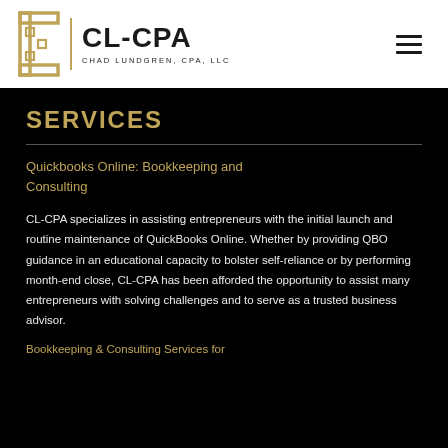[Figure (logo): CL-CPA logo with decorative bracket icon, vertical gold divider, bold text 'CL-CPA' and subtitle 'CHAD LUNDGREN, CPA, LLC']
SERVICES
Quickbooks Online: Bookkeeping and Consulting
CL-CPA specializes in assisting entrepreneurs with the initial launch and routine maintenance of QuickBooks Online. Whether by providing QBO guidance in an educational capacity to bolster self-reliance or by performing month-end close, CL-CPA has been afforded the opportunity to assist many entrepreneurs with solving challenges and to serve as a trusted business advisor.
Bookkeeping & Consulting Services for